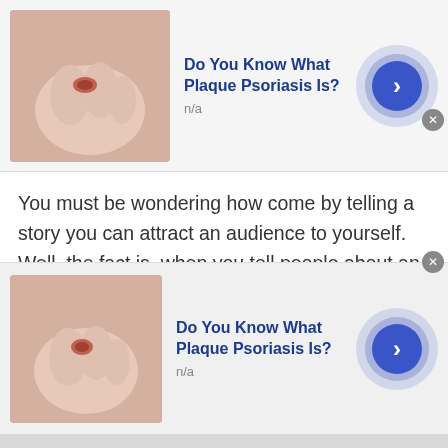[Figure (screenshot): Top advertisement banner for 'Do You Know What Plaque Psoriasis Is?' showing a thumbnail image of a hand with a skin lesion, bold blue title text, subtitle 'n/a', and a blue circular arrow button with close X button]
You must be wondering how come by telling a story you can attract an audience to yourself. Well, the fact is, when you tell people about an embarrassing secret about yourself, you somehow invisibly create a bond with them.
People start to think about your embarrassing story and consider you as an emotionally strong person. Because you have been through so many ups and downs in your life. Further it gives people an image
[Figure (screenshot): Bottom advertisement banner for 'Do You Know What Plaque Psoriasis Is?' showing a thumbnail image of a hand with a skin lesion, bold blue title text, subtitle 'n/a', and a blue circular arrow button with close X button]